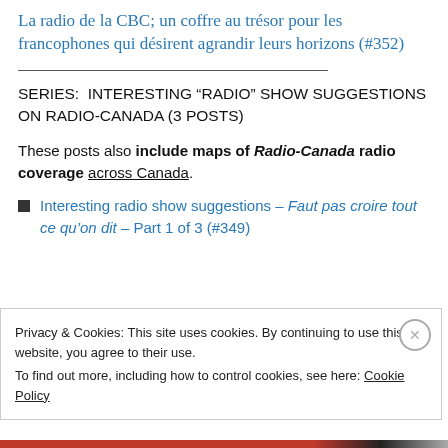La radio de la CBC; un coffre au trésor pour les francophones qui désirent agrandir leurs horizons (#352)
SERIES:  INTERESTING “RADIO” SHOW SUGGESTIONS ON RADIO-CANADA (3 POSTS)
These posts also include maps of Radio-Canada radio coverage across Canada.
Interesting radio show suggestions – Faut pas croire tout ce qu’on dit – Part 1 of 3 (#349)
Privacy & Cookies: This site uses cookies. By continuing to use this website, you agree to their use.
To find out more, including how to control cookies, see here: Cookie Policy